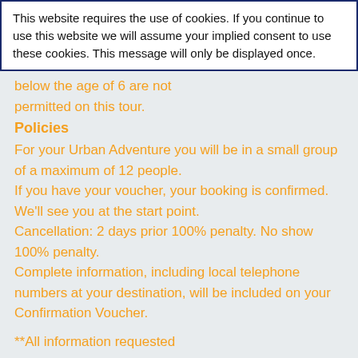This website requires the use of cookies. If you continue to use this website we will assume your implied consent to use these cookies. This message will only be displayed once.
below the age of 6 are not permitted on this tour.
Policies
For your Urban Adventure you will be in a small group of a maximum of 12 people. If you have your voucher, your booking is confirmed. We'll see you at the start point. Cancellation: 2 days prior 100% penalty. No show 100% penalty. Complete information, including local telephone numbers at your destination, will be included on your Confirmation Voucher.
**All information requested